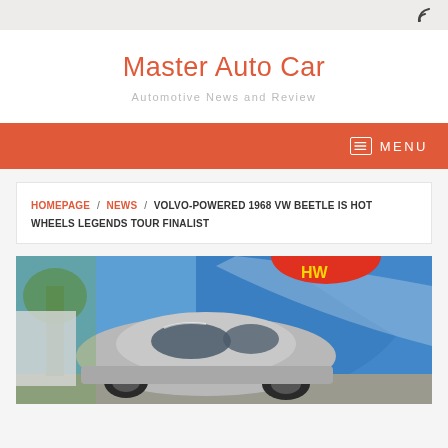RSS icon / header bar
Master Auto Car
Automotive News and Review
MENU
HOMEPAGE / NEWS / VOLVO-POWERED 1968 VW BEETLE IS HOT WHEELS LEGENDS TOUR FINALIST
[Figure (photo): A modified 1968 VW Beetle with a Volvo engine, silver/grey paint, wide tires, parked in front of a large blue Hot Wheels branded truck/trailer at an outdoor event with trees visible in the background.]